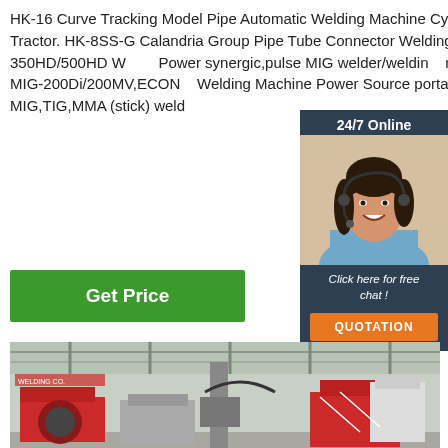HK-16 Curve Tracking Model Pipe Automatic Welding Machine Cylinder Tube Weld Tractor. HK-8SS-G Calandria Group Pipe Tube Connector Welding Machine. MIG 350HD/500HD W... Power synergic,pulse MIG welder/welding machine. Multi MIG-200Di/200MV,ECON... Welding Machine Power Source portable MIG,TIG,MMA (stick) weld
[Figure (illustration): 24/7 Online chat widget with a smiling woman wearing a headset, dark navy background, orange QUOTATION button]
Get Price
[Figure (photo): Factory interior showing red and grey industrial pipe welding machines on a factory floor with steel roof structure visible]